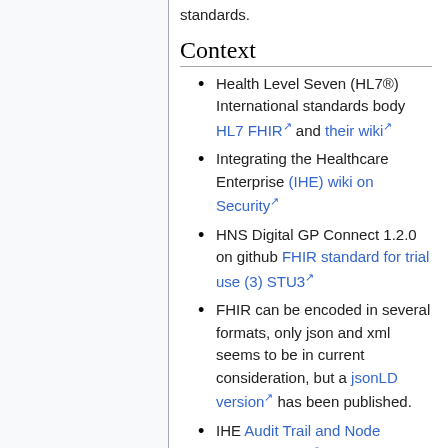standards.
Context
Health Level Seven (HL7®) International standards body HL7 FHIR and their wiki
Integrating the Healthcare Enterprise (IHE) wiki on Security
HNS Digital GP Connect 1.2.0 on github FHIR standard for trial use (3) STU3
FHIR can be encoded in several formats, only json and xml seems to be in current consideration, but a jsonLD version has been published.
IHE Audit Trail and Node Authentication
Trust Label is a discoverable and computable set of metadata to